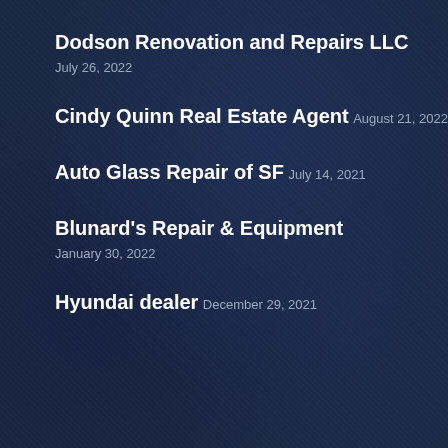Dodson Renovation and Repairs LLC
July 26, 2022
Cindy Quinn Real Estate Agent
August 21, 2022
Auto Glass Repair of SF
July 14, 2021
Blunard's Repair & Equipment
January 30, 2022
Hyundai dealer
December 29, 2021